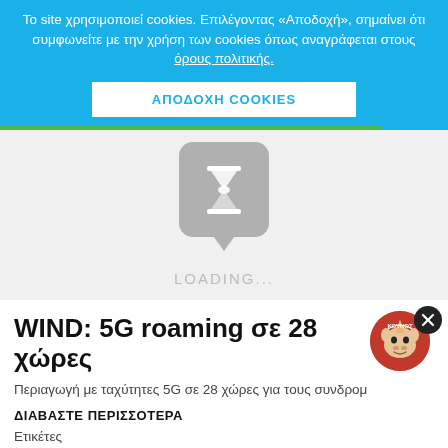Το site χρησιμοποιεί cookies. Επιλέγοντας «Αποδοχή», σημαίνει ότι συμφωνείτε με την χρήση των cookies όπως αναγράφεται στους όρους πολιτικής.
ΑΠΟΔΟΧΗ COOKIES
[Figure (screenshot): Loading placeholder with hourglass icon in a speech bubble and LOADING... text on grey background]
WIND: 5G roaming σε 28 χώρες
Περιαγωγή με ταχύτητες 5G σε 28 χώρες για τους συνδρομ...
ΔΙΑΒΑΣΤΕ ΠΕΡΙΣΣΟΤΕΡΑ
Ετικέτες